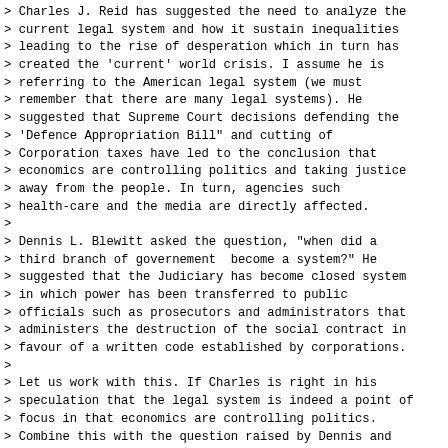> Charles J. Reid has suggested the need to analyze the
> current legal system and how it sustain inequalities
> leading to the rise of desperation which in turn has
> created the 'current' world crisis. I assume he is
> referring to the American legal system (we must
> remember that there are many legal systems). He
> suggested that Supreme Court decisions defending the
> 'Defence Appropriation Bill" and cutting of
> Corporation taxes have led to the conclusion that
> economics are controlling politics and taking justice
> away from the people. In turn, agencies such
> health-care and the media are directly affected.
>
> Dennis L. Blewitt asked the question, "when did a
> third branch of governement  become a system?" He
> suggested that the Judiciary has become closed system
> in which power has been transferred to public
> officials such as prosecutors and administrators that
> administers the destruction of the social contract in
> favour of a written code established by corporations.
>
> Let us work with this. If Charles is right in his
> speculation that the legal system is indeed a point of
> focus in that economics are controlling politics.
> Combine this with the question raised by Dennis and
> his comments concerning the transfer of power to
> public officials, in which I would to include the US
> senate and unofficially the Lobbiests they colude
> with, there is a sound platform to work upon for
> mobilization strategies.